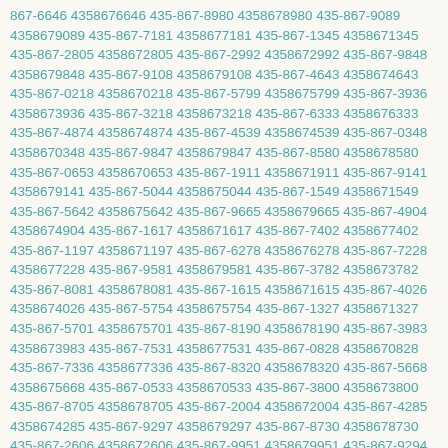867-6646 4358676646 435-867-8980 4358678980 435-867-9089 4358679089 435-867-7181 4358677181 435-867-1345 4358671345 435-867-2805 4358672805 435-867-2992 4358672992 435-867-9848 4358679848 435-867-9108 4358679108 435-867-4643 4358674643 435-867-0218 4358670218 435-867-5799 4358675799 435-867-3936 4358673936 435-867-3218 4358673218 435-867-6333 4358676333 435-867-4874 4358674874 435-867-4539 4358674539 435-867-0348 4358670348 435-867-9847 4358679847 435-867-8580 4358678580 435-867-0653 4358670653 435-867-1911 4358671911 435-867-9141 4358679141 435-867-5044 4358675044 435-867-1549 4358671549 435-867-5642 4358675642 435-867-9665 4358679665 435-867-4904 4358674904 435-867-1617 4358671617 435-867-7402 4358677402 435-867-1197 4358671197 435-867-6278 4358676278 435-867-7228 4358677228 435-867-9581 4358679581 435-867-3782 4358673782 435-867-8081 4358678081 435-867-1615 4358671615 435-867-4026 4358674026 435-867-5754 4358675754 435-867-1327 4358671327 435-867-5701 4358675701 435-867-8190 4358678190 435-867-3983 4358673983 435-867-7531 4358677531 435-867-0828 4358670828 435-867-7336 4358677336 435-867-8320 4358678320 435-867-5668 4358675668 435-867-0533 4358670533 435-867-3800 4358673800 435-867-8705 4358678705 435-867-2004 4358672004 435-867-4285 4358674285 435-867-9297 4358679297 435-867-8730 4358678730 435-867-2606 4358672606 435-867-9951 4358679951 435-867-9294 4358679294 435-867-1560 4358671560 435-867-9507 4358679507 435-867-4841 4358674841 435-867-0040 4358670040 435-867-9619 4358679619 435-867-6309 4358676309 435-867-2222 4358672222 435-867-6478 4358676478 435-867-4944 4358674944 435-867-5327